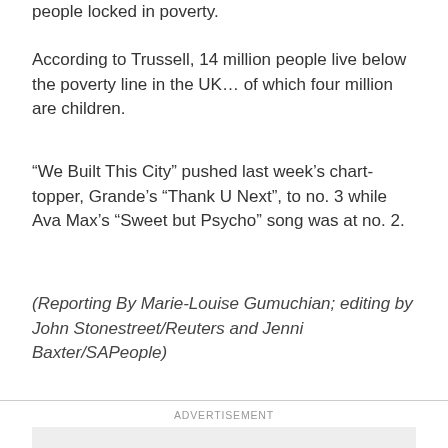people locked in poverty.
According to Trussell, 14 million people live below the poverty line in the UK… of which four million are children.
“We Built This City” pushed last week’s chart-topper, Grande’s “Thank U Next”, to no. 3 while Ava Max’s “Sweet but Psycho” song was at no. 2.
(Reporting By Marie-Louise Gumuchian; editing by John Stonestreet/Reuters and Jenni Baxter/SAPeople)
ADVERTISEMENT